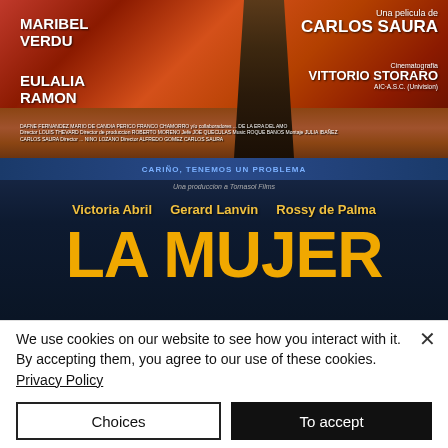[Figure (photo): Top movie poster: Carlos Saura film with Maribel Verdu and Eulalia Ramon, cinematography by Vittorio Storaro. Red-orange desert landscape background with a robed figure walking.]
[Figure (photo): Bottom movie poster: 'La Mujer' film with Victoria Abril, Gerard Lanvin, Rossy de Palma. Dark blue background with large yellow-orange title text 'LA MUJER'.]
We use cookies on our website to see how you interact with it. By accepting them, you agree to our use of these cookies. Privacy Policy
Choices
To accept